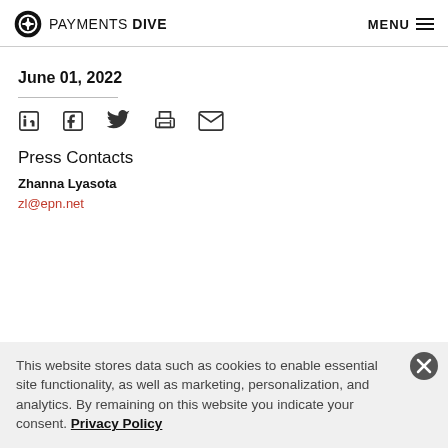PAYMENTS DIVE  MENU
June 01, 2022
[Figure (infographic): Social share icons: LinkedIn, Facebook, Twitter, Print, Email]
Press Contacts
Zhanna Lyasota
zl@epn.net
This website stores data such as cookies to enable essential site functionality, as well as marketing, personalization, and analytics. By remaining on this website you indicate your consent. Privacy Policy